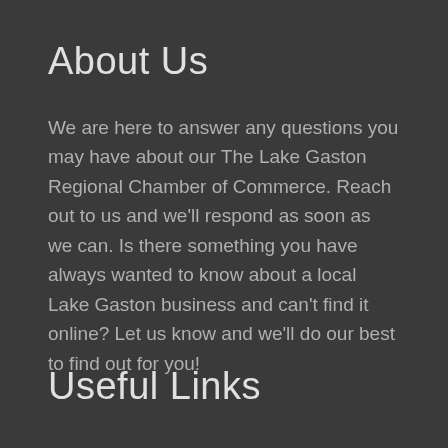About Us
We are here to answer any questions you may have about our The Lake Gaston Regional Chamber of Commerce. Reach out to us and we'll respond as soon as we can. Is there something you have always wanted to know about a local Lake Gaston business and can't find it online? Let us know and we'll do our best to find out for you!
Useful Links